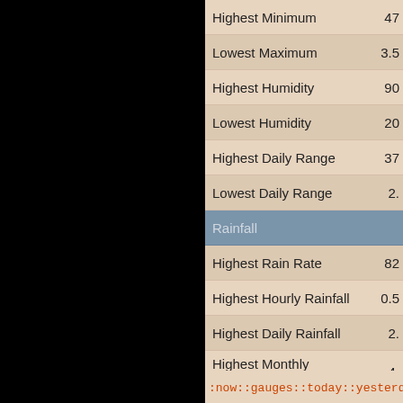| Metric | Value |
| --- | --- |
| Highest Minimum | 47 |
| Lowest Maximum | 3.5 |
| Highest Humidity | 90 |
| Lowest Humidity | 20 |
| Highest Daily Range | 37 |
| Lowest Daily Range | 2. |
| Rainfall |  |
| Highest Rain Rate | 82 |
| Highest Hourly Rainfall | 0.5 |
| Highest Daily Rainfall | 2. |
| Highest Monthly Rainfall | 4. |
| Longest Dry Period | 13 |
| Longest Wet Period | 9 |
| Wind |  |
| Highest Wind Gust | 47 |
| Highest Wind Speed Average | 26 |
| Highest Daily Wind Run | 30 |
| Pressure |  |
| Lowest Pressure (sl) | 29 |
| Highest Pressure (sl) | 30 |
:now::gauges::today::yesterday::this mon